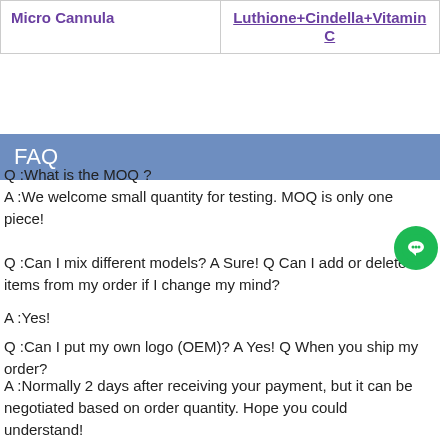| Micro Cannula | Luthione+Cindella+Vitamin C |
| --- | --- |
FAQ
Q :What is the MOQ ?
A :We welcome small quantity for testing. MOQ is only one piece!
Q :Can I mix different models? A Sure! Q Can I add or delete items from my order if I change my mind?
A :Yes!
Q :Can I put my own logo (OEM)? A Yes! Q When you ship my order?
A :Normally 2 days after receiving your payment, but it can be negotiated based on order quantity. Hope you could understand!